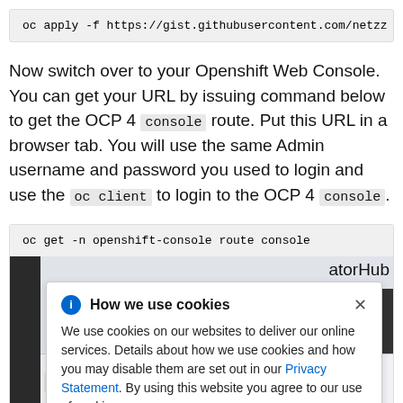[Figure (screenshot): Code block showing 'oc apply -f https://gist.githubusercontent.com/netzz...' truncated]
Now switch over to your Openshift Web Console. You can get your URL by issuing command below to get the OCP 4 console route. Put this URL in a browser tab. You will use the same Admin username and password you used to login and use the oc client to login to the OCP 4 console.
[Figure (screenshot): Code block showing 'oc get -n openshift-console route console', with a cookie consent dialog overlay reading 'How we use cookies. We use cookies on our websites to deliver our online services. Details about how we use cookies and how you may disable them are set out in our Privacy Statement. By using this website you agree to our use of cookies.' Partial screenshot of OpenShift web console visible in background.]